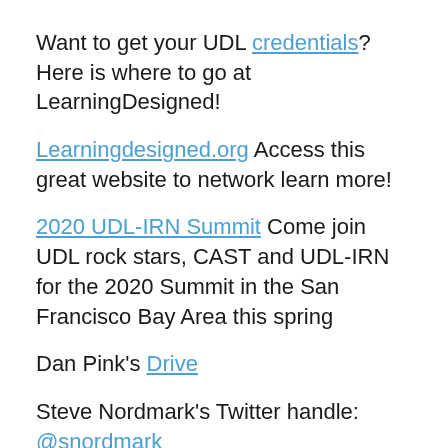Want to get your UDL credentials? Here is where to go at LearningDesigned!
Learningdesigned.org Access this great website to network learn more!
2020 UDL-IRN Summit Come join UDL rock stars, CAST and UDL-IRN for the 2020 Summit in the San Francisco Bay Area this spring
Dan Pink's Drive
Steve Nordmark's Twitter handle: @snordmark
CAST webpage
CAST's Twitter handle: @CAST_UDL